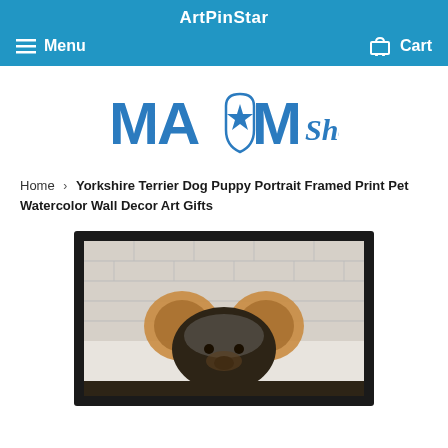ArtPinStar
Menu
Cart
[Figure (logo): MA★M Shop logo in blue with star icon]
Home › Yorkshire Terrier Dog Puppy Portrait Framed Print Pet Watercolor Wall Decor Art Gifts
[Figure (photo): Framed watercolor portrait of a Yorkshire Terrier dog puppy peering over a white brick wall, showing ears and top of head, in a black frame]